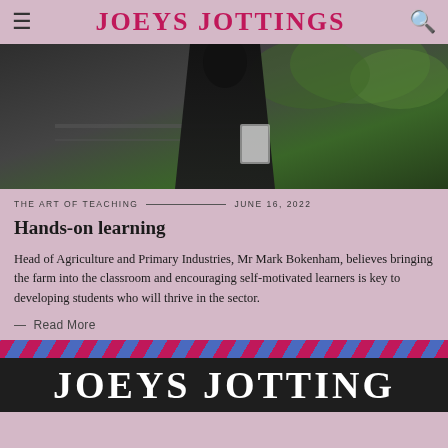JOEYS JOTTINGS
[Figure (photo): Person in dark jacket holding papers, outdoors with trees in background]
THE ART OF TEACHING — JUNE 16, 2022
Hands-on learning
Head of Agriculture and Primary Industries, Mr Mark Bokenham, believes bringing the farm into the classroom and encouraging self-motivated learners is key to developing students who will thrive in the sector.
— Read More
JOEYS JOTTINGS